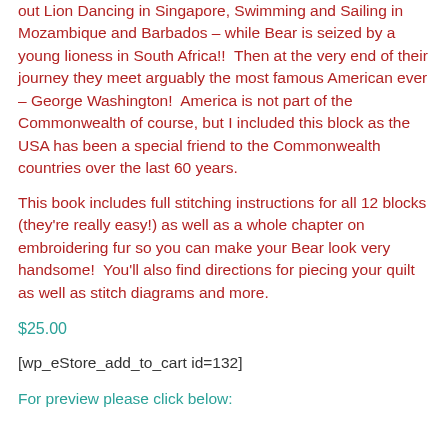out Lion Dancing in Singapore, Swimming and Sailing in Mozambique and Barbados – while Bear is seized by a young lioness in South Africa!!  Then at the very end of their journey they meet arguably the most famous American ever – George Washington!  America is not part of the Commonwealth of course, but I included this block as the USA has been a special friend to the Commonwealth countries over the last 60 years.
This book includes full stitching instructions for all 12 blocks (they're really easy!) as well as a whole chapter on embroidering fur so you can make your Bear look very handsome!  You'll also find directions for piecing your quilt as well as stitch diagrams and more.
$25.00
[wp_eStore_add_to_cart id=132]
For preview please click below: